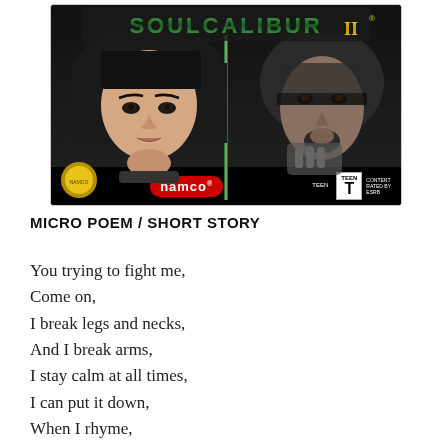[Figure (photo): Video game cover art for Soul Calibur II by Namco, showing two characters (a young woman with dark hair on the left and a man on the right) against a black background, with the game logo at top, a Namco logo in red at the bottom, and a Teen ESRB rating badge.]
MICRO POEM / SHORT STORY
You trying to fight me,
Come on,
I break legs and necks,
And I break arms,
I stay calm at all times,
I can put it down,
When I rhyme,
Hold on I got more,